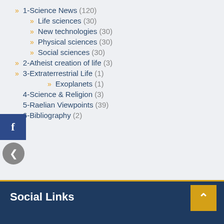1-Science News (120)
Life sciences (30)
New technologies (30)
Physical sciences (30)
Social sciences (30)
2-Atheist creation of life (3)
3-Extraterrestrial Life (1)
Exoplanets (1)
4-Science & Religion (3)
5-Raelian Viewpoints (39)
6-Bibliography (2)
Social Links